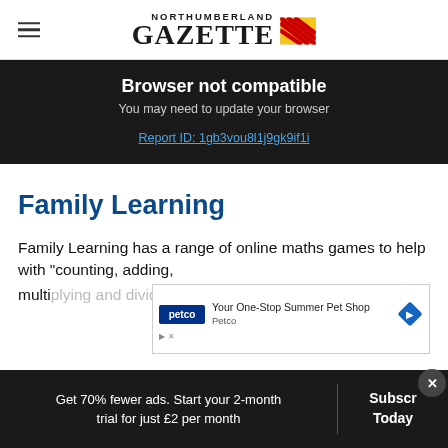Northumberland Gazette
Browser not compatible
You may need to update your browser
Report ID: 1gb3vou8l1j9gk9if1i
Family Learning
Family Learning has a range of online maths games to help with “counting, adding, multi...s.”
[Figure (other): Petco advertisement banner: 'Your One-Stop Summer Pet Shop - Petco']
Get 70% fewer ads. Start your 2-month trial for just £2 per month
Subscribe Today